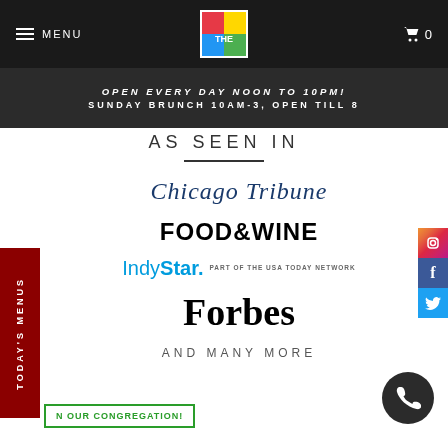MENU | [logo] | 0
OPEN EVERY DAY NOON TO 10PM!
SUNDAY BRUNCH 10AM-3, OPEN TILL 8
AS SEEN IN
[Figure (logo): Chicago Tribune logo in dark blue serif font]
[Figure (logo): FOOD&WINE logo in bold black sans-serif]
[Figure (logo): IndyStar. PART OF THE USA TODAY NETWORK logo in blue]
[Figure (logo): Forbes logo in bold black serif font]
AND MANY MORE
TODAY'S MENUS
N OUR CONGREGATION!